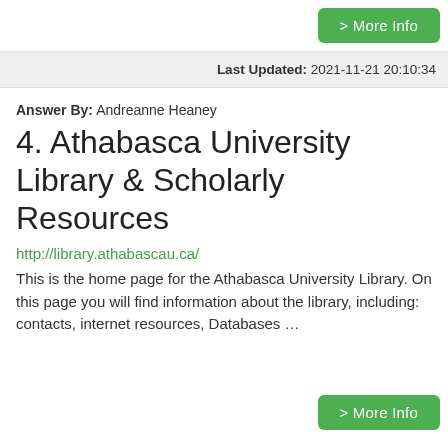> More Info
Last Updated: 2021-11-21 20:10:34
Answer By: Andreanne Heaney
4. Athabasca University Library & Scholarly Resources
http://library.athabascau.ca/
This is the home page for the Athabasca University Library. On this page you will find information about the library, including: contacts, internet resources, Databases ...
> More Info